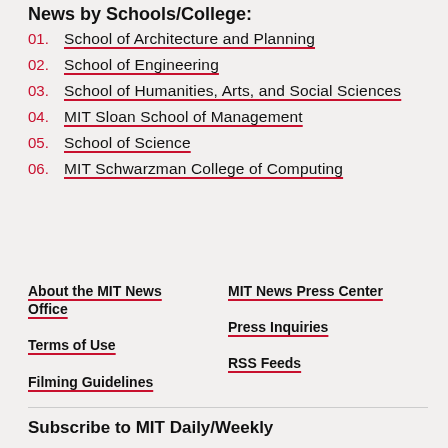News by Schools/College:
01. School of Architecture and Planning
02. School of Engineering
03. School of Humanities, Arts, and Social Sciences
04. MIT Sloan School of Management
05. School of Science
06. MIT Schwarzman College of Computing
About the MIT News Office
MIT News Press Center
Terms of Use
Press Inquiries
Filming Guidelines
RSS Feeds
Subscribe to MIT Daily/Weekly